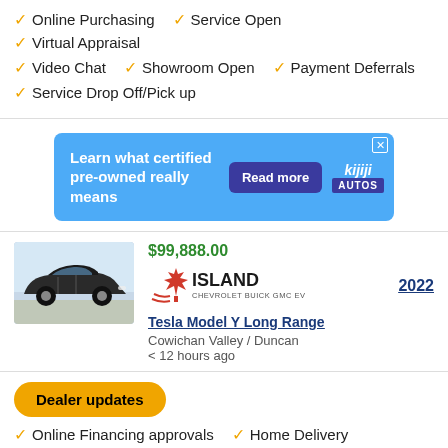✓ Online Purchasing  ✓ Service Open  ✓ Virtual Appraisal
✓ Video Chat  ✓ Showroom Open  ✓ Payment Deferrals
✓ Service Drop Off/Pick up
[Figure (infographic): Blue advertisement banner: 'Learn what certified pre-owned really means' with 'Read more' button and Kijiji Autos logo]
[Figure (photo): Dark Tesla Model Y vehicle parked outside]
$99,888.00
[Figure (logo): Island Chevrolet Buick GMC EV logo with maple leaf]
2022
Tesla Model Y Long Range
Cowichan Valley / Duncan
< 12 hours ago
Dealer updates
✓ Online Financing approvals  ✓ Home Delivery
✓ Online Purchasing  ✓ Service Open  ✓ Virtual Appraisal